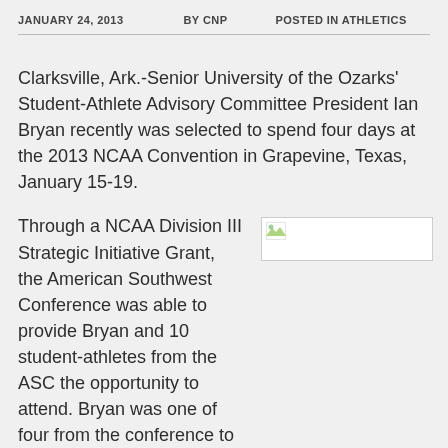JANUARY 24, 2013   BY CNP   POSTED IN ATHLETICS
Clarksville, Ark.-Senior University of the Ozarks' Student-Athlete Advisory Committee President Ian Bryan recently was selected to spend four days at the 2013 NCAA Convention in Grapevine, Texas, January 15-19.
Through a NCAA Division III Strategic Initiative Grant, the American Southwest Conference was able to provide Bryan and 10 student-athletes from the ASC the opportunity to attend. Bryan was one of four from the conference to attend the convention in its entirety. He was among 3200 attendees, less than 100 of which were student-athletes.
[Figure (photo): A placeholder image with a small icon in the top-left corner, displayed to the right of the beginning of the second paragraph.]